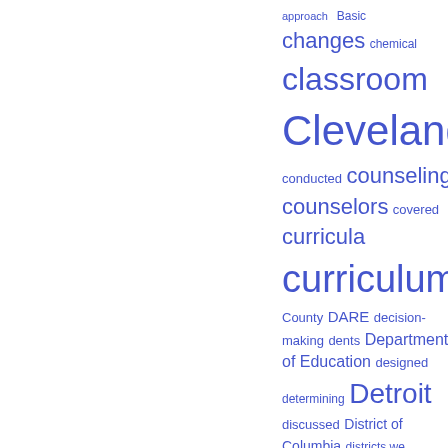[Figure (other): Word cloud / tag cloud with education-related terms in varying sizes and blue color. Terms include: approach, Basic, changes, chemical, classroom, Cleveland, conducted, counseling, counselors, covered, curricula, curriculum, Dade County, DARE, decision-making, dents, Department of Education, designed, determining, Detroit, discussed, District of Columbia, districts we visited, drug abuse, drug education programs, Drug-Free Schools funds]